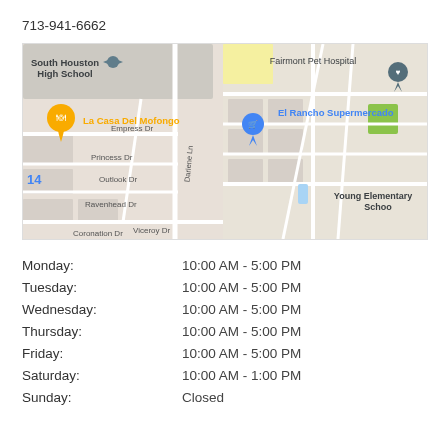713-941-6662
[Figure (map): Google Maps screenshot split into two panels. Left panel shows street map with South Houston High School label, La Casa Del Mofongo marker (orange pin), and street labels: Empress Dr, Princess Dr, Outlook Dr, Ravenhead Dr, Viceroy Dr, Coronation Dr, Freeton St, Darlene Ln. Right panel shows Fairmont Pet Hospital marker (dark pin), El Rancho Supermercado marker (blue pin), and Young Elementary School label.]
| Monday: | 10:00 AM - 5:00 PM |
| Tuesday: | 10:00 AM - 5:00 PM |
| Wednesday: | 10:00 AM - 5:00 PM |
| Thursday: | 10:00 AM - 5:00 PM |
| Friday: | 10:00 AM - 5:00 PM |
| Saturday: | 10:00 AM - 1:00 PM |
| Sunday: | Closed |